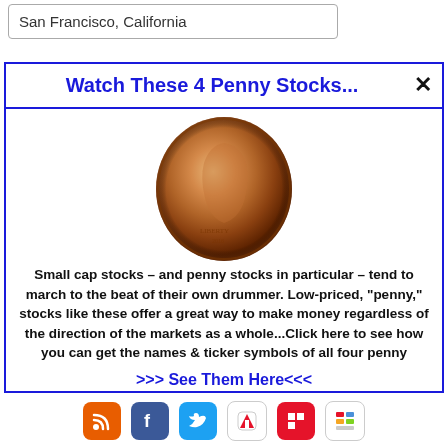San Francisco, California
Watch These 4 Penny Stocks...
[Figure (photo): Close-up photo of a US penny (Lincoln cent) coin showing Lincoln's profile]
Small cap stocks – and penny stocks in particular – tend to march to the beat of their own drummer. Low-priced, “penny,” stocks like these offer a great way to make money regardless of the direction of the markets as a whole...Click here to see how you can get the names & ticker symbols of all four penny
>>> See Them Here<<<